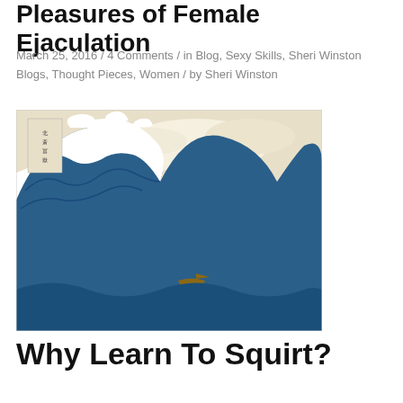Pleasures of Female Ejaculation
March 25, 2016 / 4 Comments / in Blog, Sexy Skills, Sheri Winston Blogs, Thought Pieces, Women / by Sheri Winston
[Figure (illustration): Japanese woodblock print 'The Great Wave off Kanagawa' by Hokusai, showing a large ocean wave with Mount Fuji in the background]
Why Learn To Squirt?
The Pleasures of Female Ejaculation!
Whenever I talk to a group of people about female ejaculation, someone invariably asks, "Why would I want